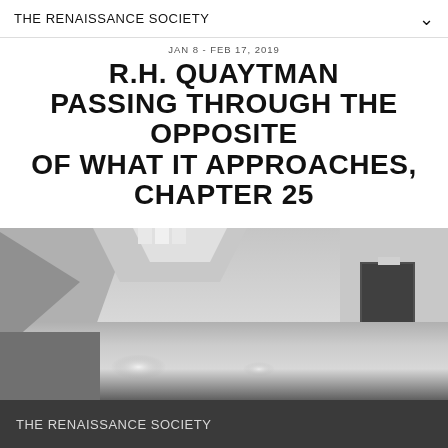THE RENAISSANCE SOCIETY
R.H. QUAYTMAN
PASSING THROUGH THE OPPOSITE OF WHAT IT APPROACHES, CHAPTER 25
JAN 8 - FEB 17, 2019
[Figure (photo): Black and white interior photograph of a large gallery space with high ceilings, arched dormer windows letting in light, a polished reflective floor, and an open doorway visible on the right side.]
THE RENAISSANCE SOCIETY